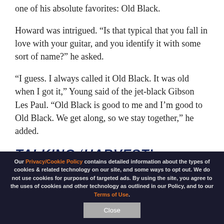one of his absolute favorites: Old Black.
Howard was intrigued. “Is that typical that you fall in love with your guitar, and you identify it with some sort of name?” he asked.
“I guess. I always called it Old Black. It was old when I got it,” Young said of the jet-black Gibson Les Paul. “Old Black is good to me and I’m good to Old Black. We get along, so we stay together,” he added.
TALKING ‘HARVEST’
Our Privacy/Cookie Policy contains detailed information about the types of cookies & related technology on our site, and some ways to opt out. We do not use cookies for purposes of targeted ads. By using the site, you agree to the uses of cookies and other technology as outlined in our Policy, and to our Terms of Use.
Close